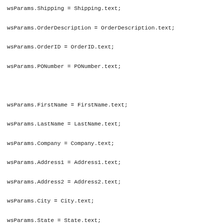wsParams.Shipping = Shipping.text;

wsParams.OrderDescription = OrderDescription.text;

wsParams.OrderID = OrderID.text;

wsParams.PONumber = PONumber.text;



wsParams.FirstName = FirstName.text;

wsParams.LastName = LastName.text;

wsParams.Company = Company.text;

wsParams.Address1 = Address1.text;

wsParams.Address2 = Address2.text;

wsParams.City = City.text;

wsParams.State = State.text;

wsParams.Zip = Zip.text;

wsParams.Country = Country.text;

wsParams.Phone = Phone.text;

wsParams.Fax = Fax.text;

wsParams.EMail = EMail.text;

wsParams.Website = Website.text;